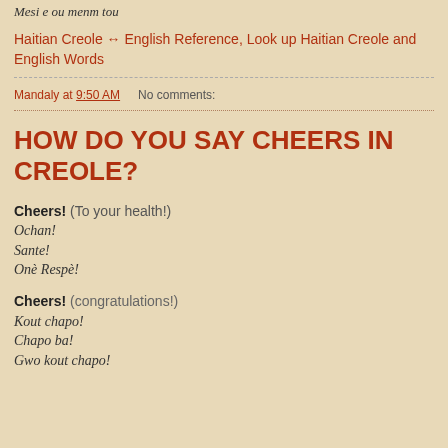Mesi e ou menm tou
Haitian Creole ↔ English Reference, Look up Haitian Creole and English Words
Mandaly at 9:50 AM   No comments:
HOW DO YOU SAY CHEERS IN CREOLE?
Cheers! (To your health!)
Ochan!
Sante!
Onè Respè!
Cheers! (congratulations!)
Kout chapo!
Chapo ba!
Gwo kout chapo!